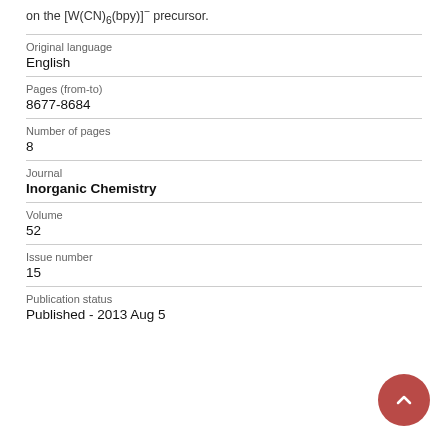on the [W(CN)6(bpy)]⁻ precursor.
| Original language | English |
| Pages (from-to) | 8677-8684 |
| Number of pages | 8 |
| Journal | Inorganic Chemistry |
| Volume | 52 |
| Issue number | 15 |
| Publication status | Published - 2013 Aug 5 |